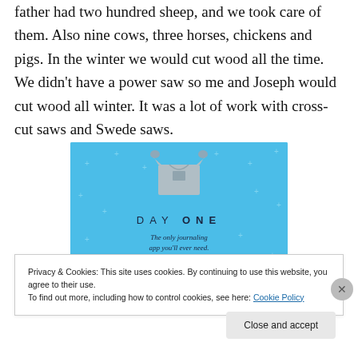father had two hundred sheep, and we took care of them. Also nine cows, three horses, chickens and pigs. In the winter we would cut wood all the time. We didn't have a power saw so me and Joseph would cut wood all winter. It was a lot of work with cross-cut saws and Swede saws.
[Figure (illustration): Day One journaling app advertisement. Light blue background with small plus/star decorations. A grey t-shirt graphic at top center with hands holding it. Text reads 'DAY ONE' in spaced capitals and 'The only journaling app you'll ever need.' in italic below.]
Privacy & Cookies: This site uses cookies. By continuing to use this website, you agree to their use.
To find out more, including how to control cookies, see here: Cookie Policy
Close and accept